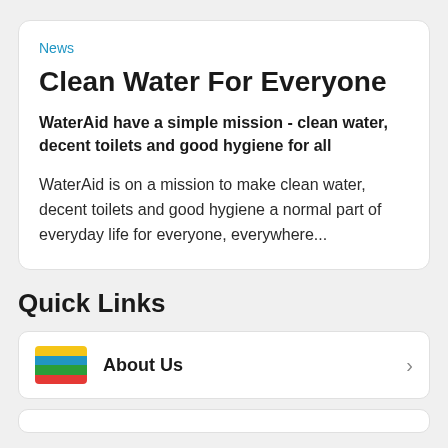News
Clean Water For Everyone
WaterAid have a simple mission - clean water, decent toilets and good hygiene for all
WaterAid is on a mission to make clean water, decent toilets and good hygiene a normal part of everyday life for everyone, everywhere...
Quick Links
About Us